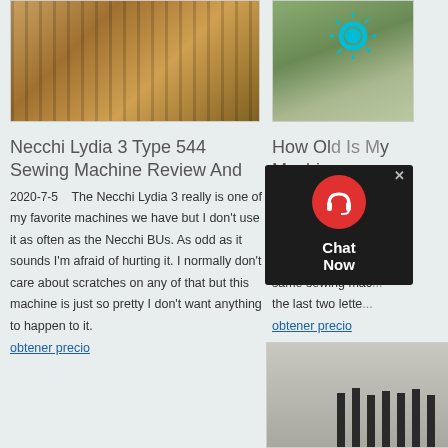[Figure (photo): Industrial machinery photo — orange metal rollers or crusher equipment]
[Figure (photo): Outdoor landscape with soil/rocks and a cyan gear icon overlay]
Necchi Lydia 3 Type 544 Sewing Machine Review And
2020-7-5    The Necchi Lydia 3 really is one of my favorite machines we have but I don't use it as often as the Necchi BUs. As odd as it sounds I'm afraid of hurting it. I normally don't care about scratches on any of that but this machine is just so pretty I don't want anything to happen to it.
obtener precio
How Old Is My Sewing Machine ...
The first M... was the N... you a clue as to w... have been made i... same sewing mac... the last two lette...
obtener precio
[Figure (photo): Chat Now widget overlay with red headset icon on dark background]
[Figure (photo): Partially visible image at bottom right — dark vertical bars/machinery]